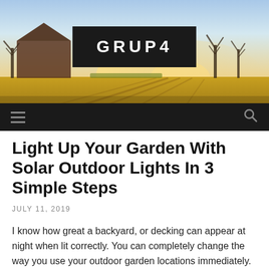[Figure (photo): Scenic countryside photo showing a barn, bare trees, and golden sunlit fields at dusk or dawn, used as a website header background image.]
GRUP4
Light Up Your Garden With Solar Outdoor Lights In 3 Simple Steps
JULY 11, 2019
I know how great a backyard, or decking can appear at night when lit correctly. You can completely change the way you use your outdoor garden locations immediately. For me there is no much better way to do this than using outdoor solar lighting. But, there are the